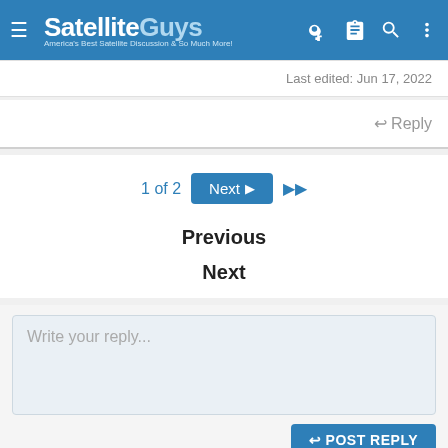SatelliteGuys — America's Best Satellite Discussion & So Much More!
Last edited: Jun 17, 2022
↩ Reply
1 of 2  Next ▶  ▶▶
Previous
Next
Write your reply...
POST REPLY